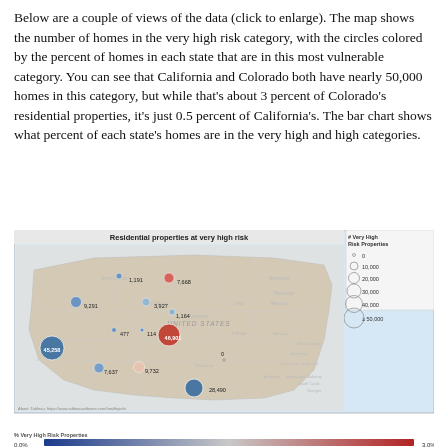Below are a couple of views of the data (click to enlarge). The map shows the number of homes in the very high risk category, with the circles colored by the percent of homes in each state that are in this most vulnerable category. You can see that California and Colorado both have nearly 50,000 homes in this category, but while that's about 3 percent of Colorado's residential properties, it's just 0.5 percent of California's. The bar chart shows what percent of each state's homes are in the very high and high categories.
[Figure (map): Map of the United States showing residential properties at very high risk. Circles of varying sizes represent the number of very high risk properties per state, colored blue to red based on percent of homes. Labels include: 1,191; 7,668; 9,291; 3,927; 1,164; 477; 114; 46,901; 45,258; 7,637; 9,732; 0; 28,490. Legend shows circle sizes for 0, 10,000, 20,000, 30,000, 40,000, ≥50,000 homes.]
[Figure (infographic): Color gradient bar showing % Very High Risk Properties from 0.0% (dark blue, left) to 3.0% (dark red, right).]